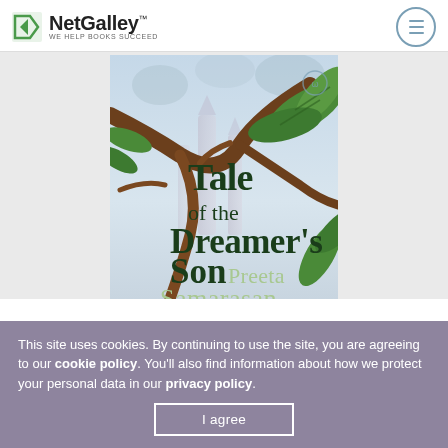NetGalley - WE HELP BOOKS SUCCEED
[Figure (illustration): Book cover of 'Tale of the Dreamer's Son' by Preeta Samarasan. Fantasy artwork with twisting brown tree branches, large green tropical leaves, and a misty background with tall spire-like structures. Title text in dark green serif font, author name in lighter green serif font at bottom.]
This site uses cookies. By continuing to use the site, you are agreeing to our cookie policy. You'll also find information about how we protect your personal data in our privacy policy.
I agree